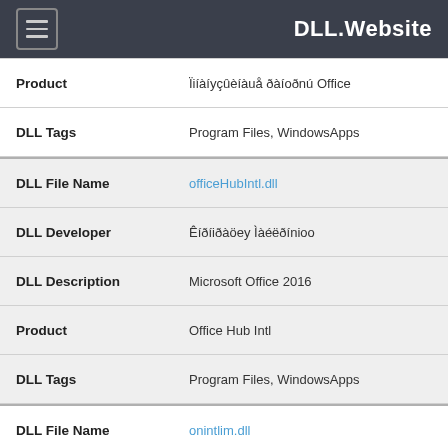DLL.Website
| Product | Ïiíàíyçûèíàuå ðàíoðnú Office |
| DLL Tags | Program Files, WindowsApps |
| DLL File Name | officeHubIntl.dll |
| DLL Developer | Êíðíiðàöey Ìàéëðínioo |
| DLL Description | Microsoft Office 2016 |
| Product | Office Hub Intl |
| DLL Tags | Program Files, WindowsApps |
| DLL File Name | onintlim.dll |
| DLL Developer | Êíðíiðàöey Ìàéëðínioo |